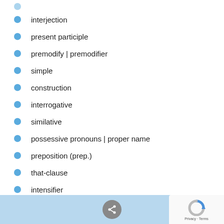interjection
present participle
premodify | premodifier
simple
construction
interrogative
similative
possessive pronouns | proper name
preposition (prep.)
that-clause
intensifier
noun phrase
count noun